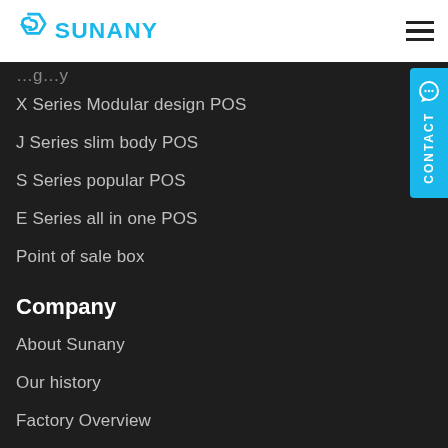[Figure (logo): Sunany logo with blue geometric icon and blue text 'SUNANY']
X Series Modular design POS
J Series slim body POS
S Series popular POS
E Series all in one POS
Point of sale box
Company
About Sunany
Our history
Factory Overview
Certification
News
Video